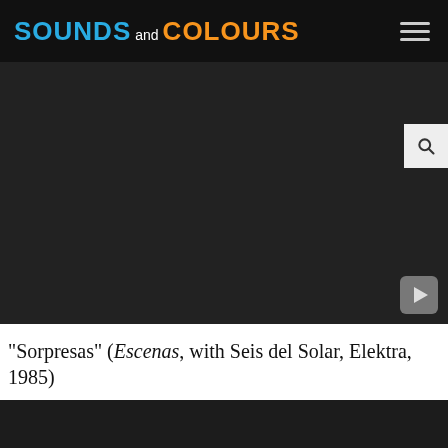SOUNDS and COLOURS
[Figure (screenshot): Embedded video player with dark background and YouTube play button in bottom-right corner]
"Sorpresas" (Escenas, with Seis del Solar, Elektra, 1985)
[Figure (screenshot): Second embedded video player with dark background, partially visible]